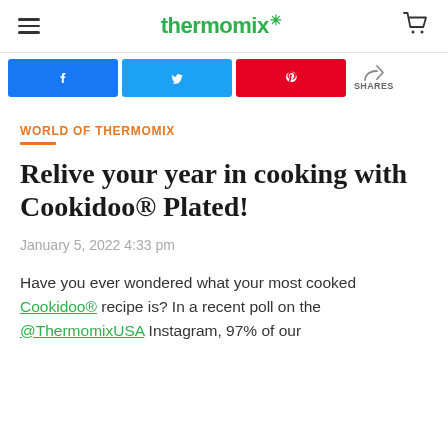thermomix
[Figure (screenshot): Social sharing buttons: Facebook (blue), Twitter (blue), Pinterest (red), and a shares counter icon]
WORLD OF THERMOMIX
Relive your year in cooking with Cookidoo® Plated!
January 5, 2022 4:33 pm
Have you ever wondered what your most cooked Cookidoo® recipe is? In a recent poll on the @ThermomixUSA Instagram, 97% of our